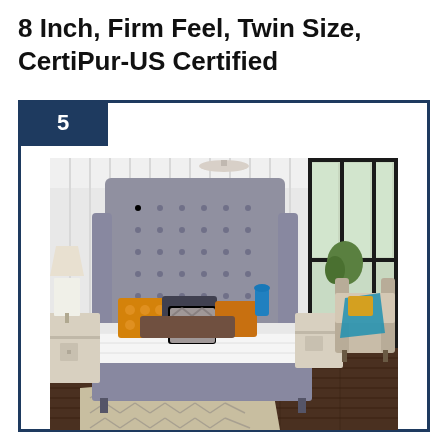8 Inch, Firm Feel, Twin Size, CertiPur-US Certified
[Figure (photo): Product listing photo showing a bedroom with a gray upholstered bed frame and white mattress on a herringbone rug, styled with colorful throw pillows and modern decor, next to a number badge '5' on a dark navy border card.]